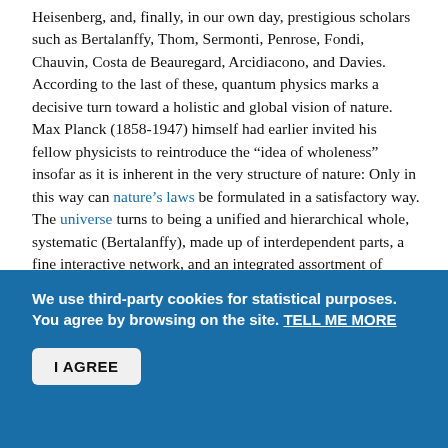Heisenberg, and, finally, in our own day, prestigious scholars such as Bertalanffy, Thom, Sermonti, Penrose, Fondi, Chauvin, Costa de Beauregard, Arcidiacono, and Davies. According to the last of these, quantum physics marks a decisive turn toward a holistic and global vision of nature. Max Planck (1858-1947) himself had earlier invited his fellow physicists to reintroduce the “idea of wholeness” insofar as it is inherent in the very structure of nature: Only in this way can nature’s laws be formulated in a satisfactory way. The universe turns to being a unified and hierarchical whole, systematic (Bertalanffy), made up of interdependent parts, a fine interactive network, and an integrated assortment of relationships, all regulated by laws. We are here at the furthest extreme from any idea of dividing nature into its simple elements, those so-called “fundamental building blocks.” The phenomenal world, in the thought of these authors, takes on once again the character of an animated and living structure, arbitrary yet exemplary, an organism of
We use third-party cookies for statistical purposes. You agree by browsing on the site. TELL ME MORE
I AGREE